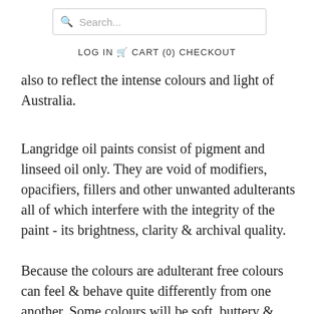[Figure (screenshot): Search bar with magnifying glass icon and placeholder text 'Search...']
LOG IN   CART (0)   CHECKOUT
also to reflect the intense colours and light of Australia.
Langridge oil paints consist of pigment and linseed oil only. They are void of modifiers, opacifiers, fillers and other unwanted adulterants all of which interfere with the integrity of the paint - its brightness, clarity & archival quality.
Because the colours are adulterant free colours can feel & behave quite differently from one another. Some colours will be soft, buttery & brush out easily while others are stiffer, sticky or clotted. This